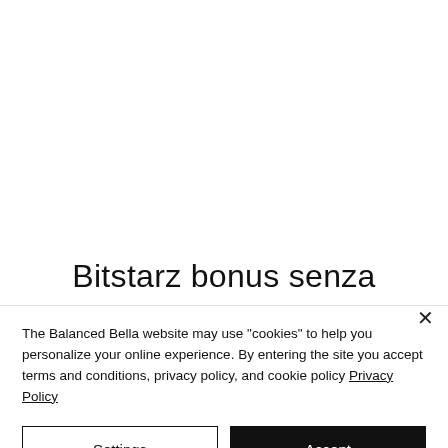Bitstarz bonus senza
The Balanced Bella website may use "cookies" to help you personalize your online experience. By entering the site you accept terms and conditions, privacy policy, and cookie policy Privacy Policy
Settings
Accept